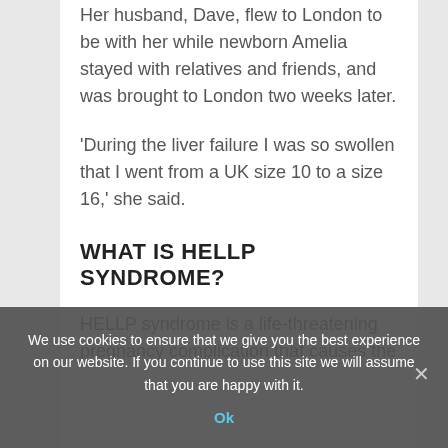Her husband, Dave, flew to London to be with her while newborn Amelia stayed with relatives and friends, and was brought to London two weeks later.
'During the liver failure I was so swollen that I went from a UK size 10 to a size 16,' she said.
WHAT IS HELLP SYNDROME?
HELLP syndrome is a life-threatening pregnancy complication that causes the
We use cookies to ensure that we give you the best experience on our website. If you continue to use this site we will assume that you are happy with it.
Ok